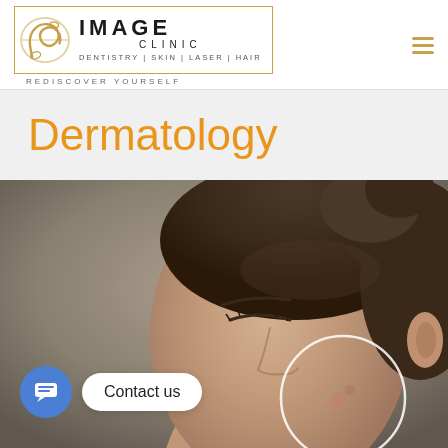[Figure (logo): Image Clinic logo with golden brush-stroke design, text reading IMAGE CLINIC, DENTISTRY | SKIN | LASER | HAIR, REDISCOVER YOURSELF, and a gold frame border]
Dermatology
[Figure (photo): Photo of a young woman with dark hair up, eyes closed, with a circular magnified highlight on her cheek showing acne/skin condition. Blue chat icon and 'Contact us' speech bubble overlay in lower left.]